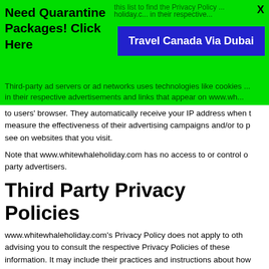[Figure (other): Green advertisement banner with 'Need Quarantine Packages! Click Here' text, a blue button labeled 'Travel Canada Via Dubai', and a close X button]
Third-party ad servers or ad networks uses technologies like cookies in their respective advertisements and links that appear on www.wh... to users' browser. They automatically receive your IP address when t... measure the effectiveness of their advertising campaigns and/or to p... see on websites that you visit.
Note that www.whitewhaleholiday.com has no access to or control ... party advertisers.
Third Party Privacy Policies
www.whitewhaleholiday.com's Privacy Policy does not apply to oth... advising you to consult the respective Privacy Policies of these ... information. It may include their practices and instructions about how
You can choose to disable cookies through your individual browser o... about cookie management with specific web browsers, it can be foun...
CCPA Privacy Rights (Do Not... Information)